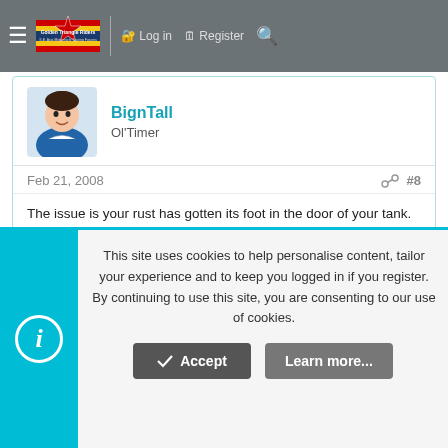that fishermen use. Then again it might be an old wives tale or at least...
Golden Triangle Riders — SE Asia Motorcycle Touring Forums | Log in | Register
BignTall
Ol'Timer
Feb 21, 2008  #8
The issue is your rust has gotten its foot in the door of your tank. The methods recommended (fishing wieghts and bolts) will (semi)work but only in the short term. The rust will continue to decay inside your tank causing your situation to reappear.

A collection of small nuts vigourously shaken about in the tank
This site uses cookies to help personalise content, tailor your experience and to keep you logged in if you register.
By continuing to use this site, you are consenting to our use of cookies.